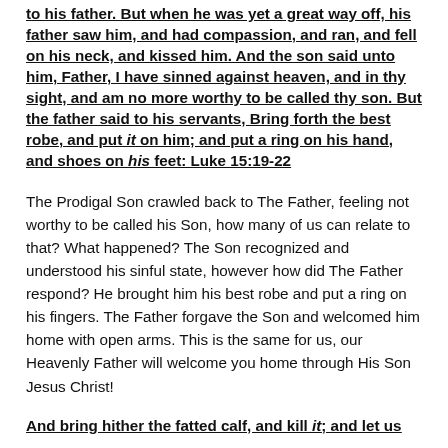to his father. But when he was yet a great way off, his father saw him, and had compassion, and ran, and fell on his neck, and kissed him. And the son said unto him, Father, I have sinned against heaven, and in thy sight, and am no more worthy to be called thy son. But the father said to his servants, Bring forth the best robe, and put it on him; and put a ring on his hand, and shoes on his feet: Luke 15:19-22
The Prodigal Son crawled back to The Father, feeling not worthy to be called his Son, how many of us can relate to that? What happened? The Son recognized and understood his sinful state, however how did The Father respond? He brought him his best robe and put a ring on his fingers. The Father forgave the Son and welcomed him home with open arms. This is the same for us, our Heavenly Father will welcome you home through His Son Jesus Christ!
And bring hither the fatted calf, and kill it; and let us